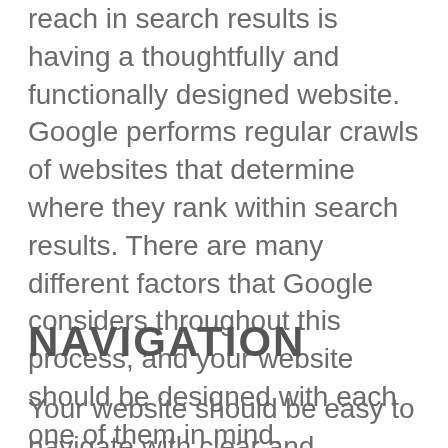reach in search results is having a thoughtfully and functionally designed website. Google performs regular crawls of websites that determine where they rank within search results. There are many different factors that Google considers throughout this process, and your website should be designed with each one of them in mind.
NAVIGATION
Your website should be easy to navigate with clear and...